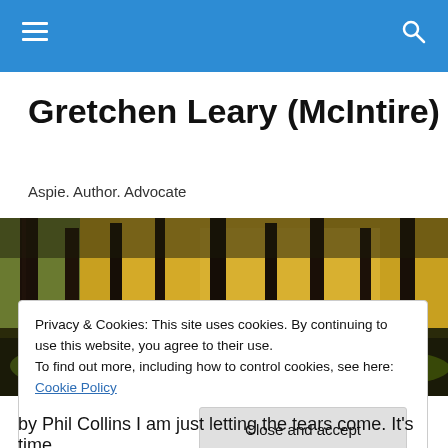Navigation bar with hamburger menu and search icon
Gretchen Leary (McIntire)
Aspie. Author. Advocate
[Figure (photo): Autumn forest scene with dark tree trunks, mossy rocks, and yellow foliage in the background]
Privacy & Cookies: This site uses cookies. By continuing to use this website, you agree to their use.
To find out more, including how to control cookies, see here: Cookie Policy

Close and accept
by Phil Collins I am just letting the tears come. It's time,